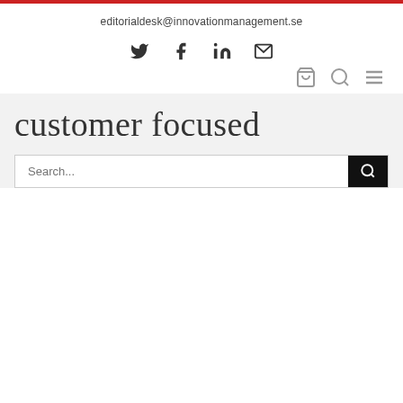editorialdesk@innovationmanagement.se
[Figure (other): Social media icons: Twitter, Facebook, LinkedIn, Email/envelope]
[Figure (other): Navigation icons: cart, search, hamburger menu]
customer focused
[Figure (other): Search bar with placeholder text 'Search...' and a search button]